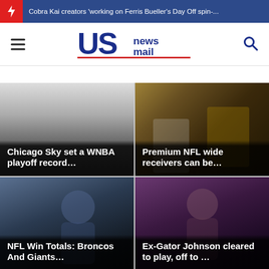Cobra Kai creators 'working on Ferris Bueller's Day Off spin-...
[Figure (logo): US News Mail logo with red underline, hamburger menu left, search icon right]
[Figure (photo): Chicago Sky WNBA photo with overlay text: Chicago Sky set a WNBA playoff record...]
[Figure (photo): NFL wide receivers photo with overlay text: Premium NFL wide receivers can be...]
[Figure (photo): NFL Broncos player photo with overlay text: NFL Win Totals: Broncos And Giants...]
[Figure (photo): Basketball player photo with overlay text: Ex-Gator Johnson cleared to play, off to ...]